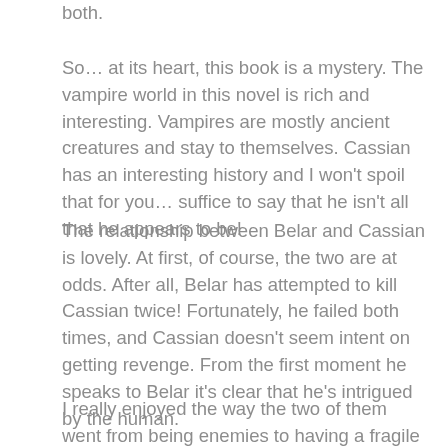both.
So… at its heart, this book is a mystery. The vampire world in this novel is rich and interesting. Vampires are mostly ancient creatures and stay to themselves. Cassian has an interesting history and I won't spoil that for you… suffice to say that he isn't all that he appears to be!
The relationship between Belar and Cassian is lovely. At first, of course, the two are at odds. After all, Belar has attempted to kill Cassian twice! Fortunately, he failed both times, and Cassian doesn't seem intent on getting revenge. From the first moment he speaks to Belar it's clear that he's intrigued by the human.
I really enjoyed the way the two of them went from being enemies to having a fragile truce to find out what